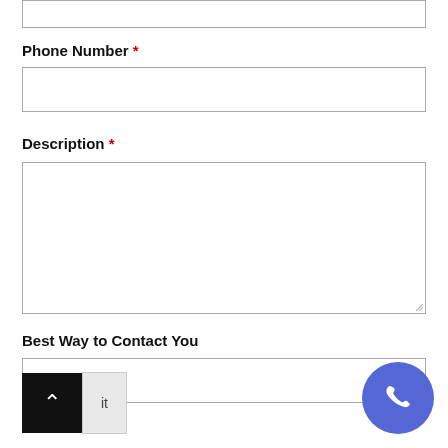[Input field — top, partially visible]
Phone Number *
[Phone number input field]
Description *
[Description textarea]
Best Way to Contact You
[Best way to contact input field]
[Back to top button and Submit button]
[Figure (illustration): Blue circular phone/call button icon in bottom right corner]